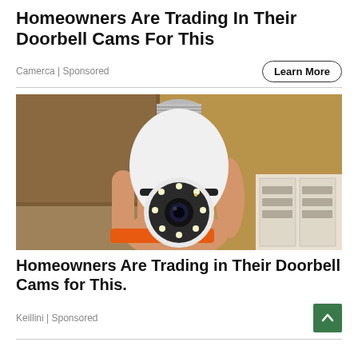Homeowners Are Trading In Their Doorbell Cams For This
Camerca | Sponsored
Learn More
[Figure (photo): A hand holding a white light-bulb shaped security camera with a round camera head featuring multiple LED lights and a lens, against a shelf/storage background. The person is wearing an orange wristband.]
Homeowners Are Trading in Their Doorbell Cams for This.
Keillini | Sponsored